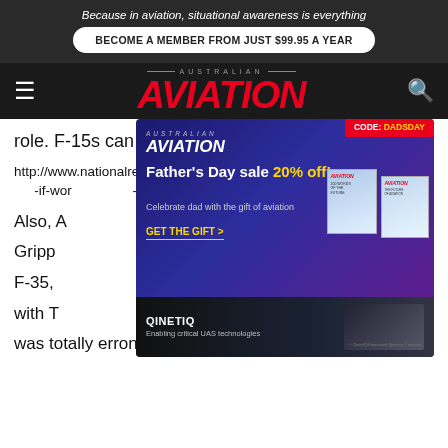Because in aviation, situational awareness is everything
BECOME A MEMBER FROM JUST $99.95 A YEAR
[Figure (logo): Australian Aviation masthead logo with red italic AVIATION text]
role. F-15s can (soon) carry 16 missiles!
http://www.nationalreview.com/article/419479/what-if-worst-case-scenarios-about-f-35-arent-worst-we-face-defeat-our-enemies
[Figure (infographic): Australian Aviation Father's Day sale advertisement with CODE: DADSDAY, 20% off promotion, and magazine images]
[Figure (infographic): QinetiQ - Enabling critical UAS technologies advertisement]
Also, A... Grippen... the F-35, ... F-18s with T... ours was totally erroneous! Typhoons and Rafaeles – ai-